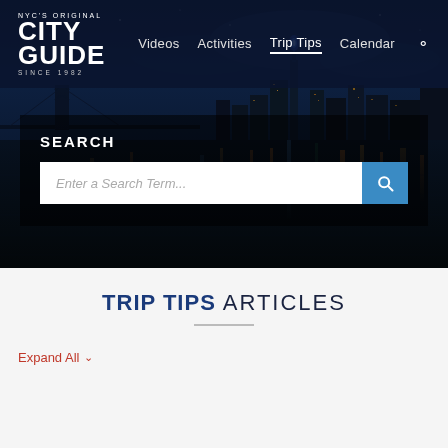NYC's Original City Guide Since 1982 — Videos | Activities | Trip Tips | Calendar
[Figure (screenshot): NYC night skyline photo with dark blue tones, city lights reflected in water, used as hero background image]
SEARCH
Enter a Search Term...
TRIP TIPS ARTICLES
Expand All